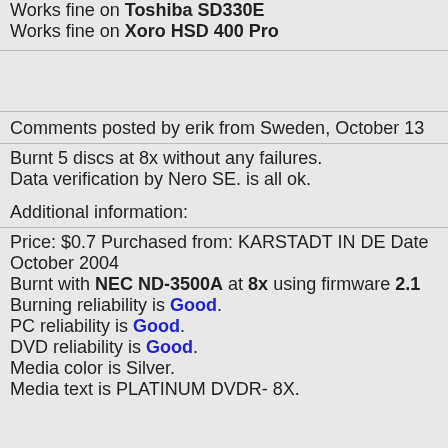Works fine on Toshiba SD330E
Works fine on Xoro HSD 400 Pro
Comments posted by erik from Sweden, October 13
Burnt 5 discs at 8x without any failures.
Data verification by Nero SE. is all ok.
Additional information:
Price: $0.7 Purchased from: KARSTADT IN DE Date October 2004
Burnt with NEC ND-3500A at 8x using firmware 2.1
Burning reliability is Good.
PC reliability is Good.
DVD reliability is Good.
Media color is Silver.
Media text is PLATINUM DVDR- 8X.